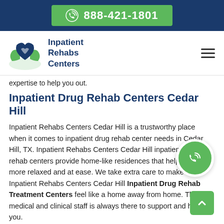888-421-1801
[Figure (logo): Inpatient Rehabs Centers logo with heart and hands icon]
expertise to help you out.
Inpatient Drug Rehab Centers Cedar Hill
Inpatient Rehabs Centers Cedar Hill is a trustworthy place when it comes to inpatient drug rehab center needs in Cedar Hill, TX. Inpatient Rehabs Centers Cedar Hill inpatient drug rehab centers provide home-like residences that help you feel more relaxed and at ease. We take extra care to make Inpatient Rehabs Centers Cedar Hill Inpatient Drug Rehab Treatment Centers feel like a home away from home. The medical and clinical staff is always there to support and help you.